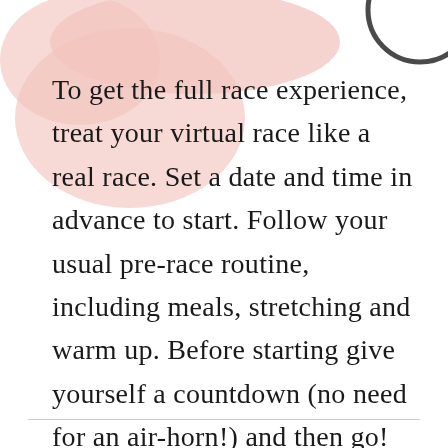[Figure (illustration): Decorative pink blob shape in the top-left area and a partial circular outline graphic in the top-right corner]
To get the full race experience, treat your virtual race like a real race. Set a date and time in advance to start. Follow your usual pre-race routine, including meals, stretching and warm up. Before starting give yourself a countdown (no need for an air-horn!) and then go!